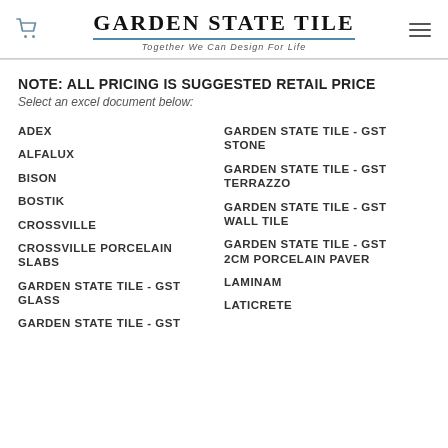GARDEN STATE TILE — Together We Can Design For Life
NOTE: ALL PRICING IS SUGGESTED RETAIL PRICE
Select an excel document below:
ADEX
ALFALUX
BISON
BOSTIK
CROSSVILLE
CROSSVILLE PORCELAIN SLABS
GARDEN STATE TILE - GST GLASS
GARDEN STATE TILE - GST
GARDEN STATE TILE - GST STONE
GARDEN STATE TILE - GST TERRAZZO
GARDEN STATE TILE - GST WALL TILE
GARDEN STATE TILE - GST 2CM PORCELAIN PAVER
LAMINAM
LATICRETE